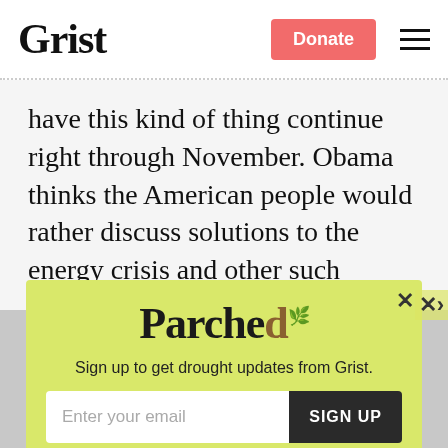Grist | Donate
have this kind of thing continue right through November. Obama thinks the American people would rather discuss solutions to the energy crisis and other such matters of governance and policy.
But why does he think that? If the American
[Figure (other): Parched newsletter modal popup with yellow-green background. Contains 'Parched' title with cracked earth styling, subtitle 'Sign up to get drought updates from Grist.', email input field, SIGN UP button, and 'No thanks' link. X close button in top right.]